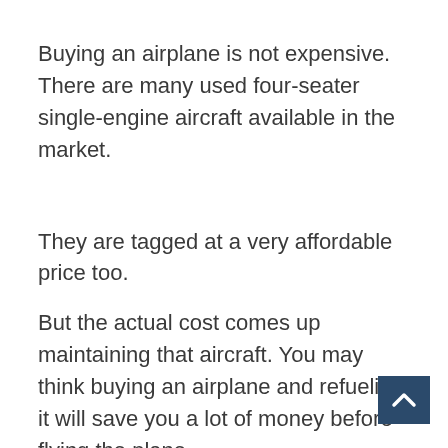Buying an airplane is not expensive. There are many used four-seater single-engine aircraft available in the market.
They are tagged at a very affordable price too.
But the actual cost comes up maintaining that aircraft. You may think buying an airplane and refueling it will save you a lot of money before flying the plane.